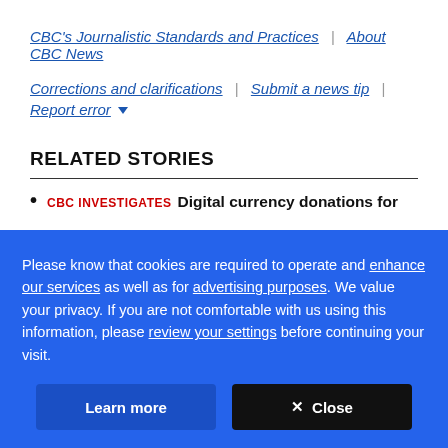CBC's Journalistic Standards and Practices | About CBC News
Corrections and clarifications | Submit a news tip | Report error ▾
RELATED STORIES
CBC INVESTIGATES  Digital currency donations for
Please know that cookies are required to operate and enhance our services as well as for advertising purposes. We value your privacy. If you are not comfortable with us using this information, please review your settings before continuing your visit.
Learn more   ✕ Close